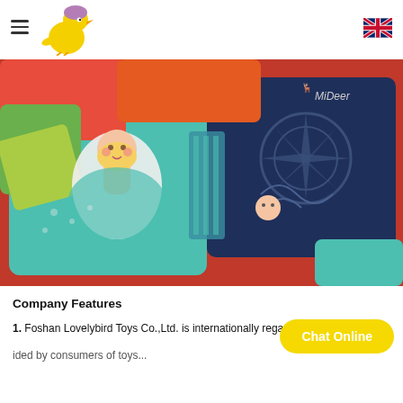[Figure (logo): Yellow cartoon bird/dinosaur logo for Lovelybird Toys]
[Figure (photo): Collection of colorful children's puzzle pieces and board game cards with illustrated characters including a ballerina girl, MiDeer branded items, and decorative dark navy puzzle pieces with sun/star motifs]
Company Features
1. Foshan Lovelybird Toys Co.,Ltd. is internationally rega...
...ided by consumers of toys...